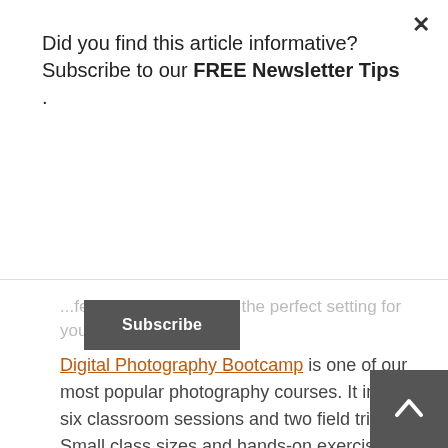Did you find this article informative? Subscribe to our FREE Newsletter Tips .
Subscribe
...feature helps you find the perfect setting for your camera.
Digital Photography Bootcamp is one of our most popular photography courses. It includes six classroom sessions and two field trips. Small class sizes and hands-on exercises make this workshop a perfect class for beginners to intermediate users.